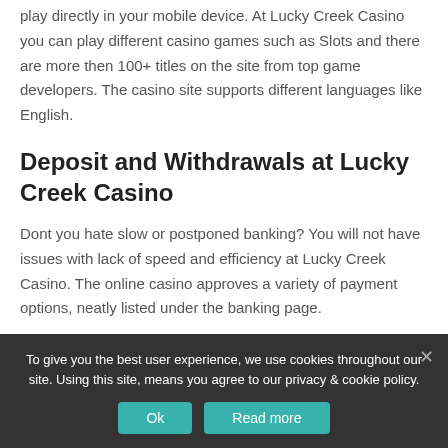play directly in your mobile device. At Lucky Creek Casino you can play different casino games such as Slots and there are more then 100+ titles on the site from top game developers. The casino site supports different languages like English.
Deposit and Withdrawals at Lucky Creek Casino
Dont you hate slow or postponed banking? You will not have issues with lack of speed and efficiency at Lucky Creek Casino. The online casino approves a variety of payment options, neatly listed under the banking page.
For all good casino sites, it is important with fast and flexible
To give you the best user experience, we use cookies throughout our site. Using this site, means you agree to our privacy & cookie policy.